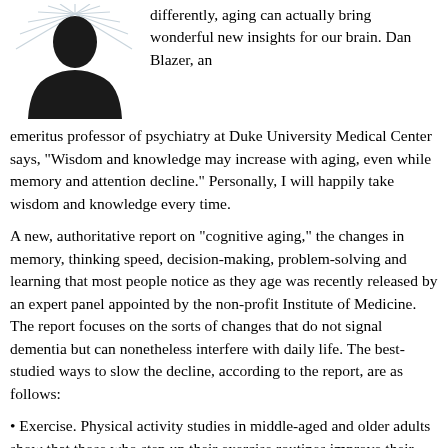[Figure (illustration): Silhouette of a person's head and shoulders with radiating lines behind them, suggesting light or energy emanating from the head. Black and white illustration.]
differently, aging can actually bring wonderful new insights for our brain. Dan Blazer, an emeritus professor of psychiatry at Duke University Medical Center says, “Wisdom and knowledge may increase with aging, even while memory and attention decline.” Personally, I will happily take wisdom and knowledge every time.
A new, authoritative report on “cognitive aging,” the changes in memory, thinking speed, decision-making, problem-solving and learning that most people notice as they age was recently released by an expert panel appointed by the non-profit Institute of Medicine. The report focuses on the sorts of changes that do not signal dementia but can nonetheless interfere with daily life. The best-studied ways to slow the decline, according to the report, are as follows:
• Exercise. Physical activity studies in middle-aged and older adults show that those who step up their exercise routines improve their scores on thinking tests. Still unclear: what kinds of exercise, in what doses, at what time of life, are best.